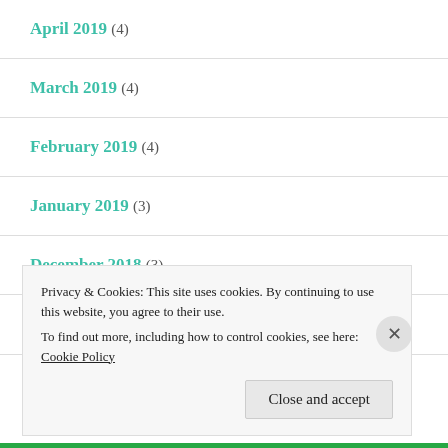April 2019 (4)
March 2019 (4)
February 2019 (4)
January 2019 (3)
December 2018 (3)
November 2018 (5)
Privacy & Cookies: This site uses cookies. By continuing to use this website, you agree to their use.
To find out more, including how to control cookies, see here: Cookie Policy
Close and accept